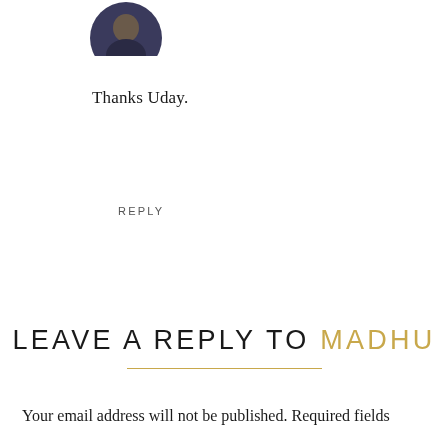[Figure (photo): Circular avatar photo of a person, partially visible at top]
Thanks Uday.
REPLY
LEAVE A REPLY TO MADHU
Your email address will not be published. Required fields
The Urge To Wander uses cookies to enhance your experience on this website. By continuing to use the site you consent to our cookies. Privacy Policy
OK